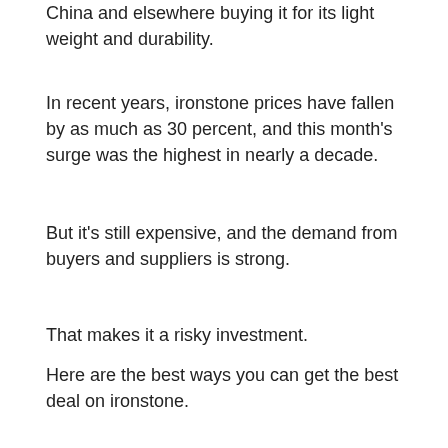China and elsewhere buying it for its light weight and durability.
In recent years, ironstone prices have fallen by as much as 30 percent, and this month's surge was the highest in nearly a decade.
But it's still expensive, and the demand from buyers and suppliers is strong.
That makes it a risky investment.
Here are the best ways you can get the best deal on ironstone.
If you're looking to sell, there are some things you can do to make sure you get the right deal:Buyers have to pay ironstone at the same time they buy it, meaning they can't